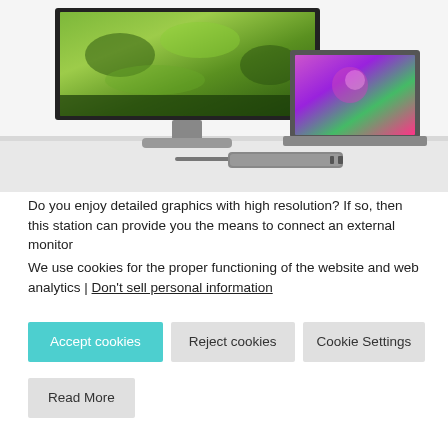[Figure (photo): Product photo showing a large widescreen monitor displaying green foliage, a laptop computer with colorful flower display, and a USB-C hub/docking station in front, all on a light grey surface.]
Do you enjoy detailed graphics with high resolution? If so, then this station can provide you the means to connect an external monitor
We use cookies for the proper functioning of the website and web analytics | Don't sell personal information
Accept cookies
Reject cookies
Cookie Settings
Read More